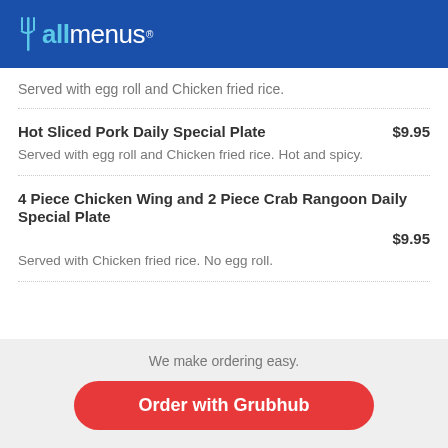allmenus
Served with egg roll and Chicken fried rice.
Hot Sliced Pork Daily Special Plate $9.95
Served with egg roll and Chicken fried rice. Hot and spicy.
4 Piece Chicken Wing and 2 Piece Crab Rangoon Daily Special Plate $9.95
Served with Chicken fried rice. No egg roll.
We make ordering easy.
Order with Grubhub